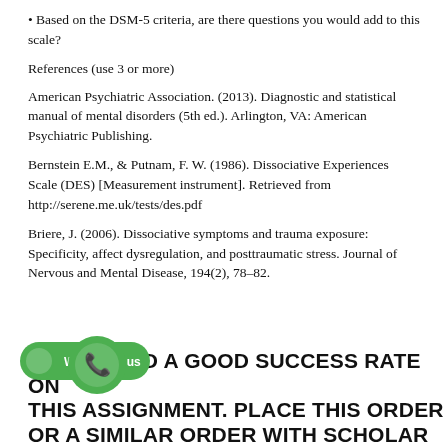Based on the DSM-5 criteria, are there questions you would add to this scale?
References (use 3 or more)
American Psychiatric Association. (2013). Diagnostic and statistical manual of mental disorders (5th ed.). Arlington, VA: American Psychiatric Publishing.
Bernstein E.M., & Putnam, F. W. (1986). Dissociative Experiences Scale (DES) [Measurement instrument]. Retrieved from http://serene.me.uk/tests/des.pdf
Briere, J. (2006). Dissociative symptoms and trauma exposure: Specificity, affect dysregulation, and posttraumatic stress. Journal of Nervous and Mental Disease, 194(2), 78–82.
"WE'VE HAD A GOOD SUCCESS RATE ON THIS ASSIGNMENT. PLACE THIS ORDER OR A SIMILAR ORDER WITH SCHOLAR